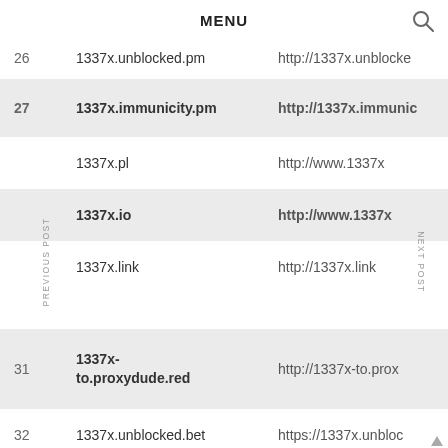MENU
| # | Domain | URL |
| --- | --- | --- |
| 26 | 1337x.unblocked.pm | http://1337x.unblocked.pm |
| 27 | 1337x.immunicity.pm | http://1337x.immunic… |
|  | 1337x.pl | http://www.1337x |
|  | 1337x.io | http://www.1337x |
|  | 1337x.link | http://1337x.link |
|  |  |  |
| 31 | 1337x-to.proxydude.red | http://1337x-to.proxy… |
| 32 | 1337x.unblocked.bet | https://1337x.unbloc… |
| 33 | 1337x.unblocked… | https://1337x… |